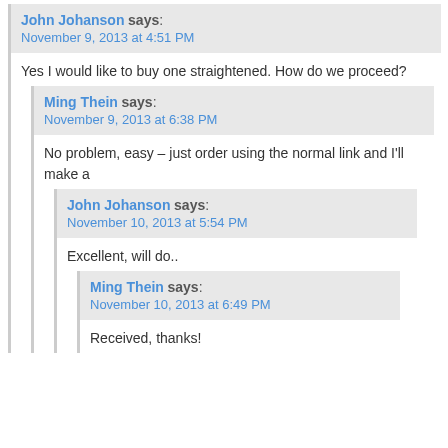John Johanson says: November 9, 2013 at 4:51 PM
Yes I would like to buy one straightened. How do we proceed?
Ming Thein says: November 9, 2013 at 6:38 PM
No problem, easy – just order using the normal link and I'll make a
John Johanson says: November 10, 2013 at 5:54 PM
Excellent, will do..
Ming Thein says: November 10, 2013 at 6:49 PM
Received, thanks!